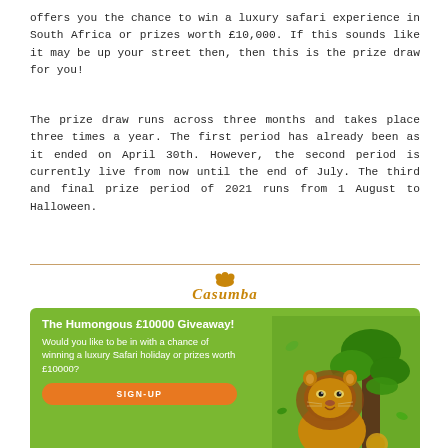offers you the chance to win a luxury safari experience in South Africa or prizes worth £10,000. If this sounds like it may be up your street then, then this is the prize draw for you!
The prize draw runs across three months and takes place three times a year. The first period has already been as it ended on April 30th. However, the second period is currently live from now until the end of July. The third and final prize period of 2021 runs from 1 August to Halloween.
[Figure (illustration): Casumba casino advertisement banner showing 'The Humongous £10000 Giveaway!' on a green background with a lion image, a SIGN-UP button, and fine print text at the bottom.]